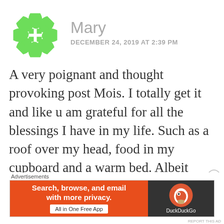[Figure (illustration): Green stylized snowflake/pinwheel avatar icon for user Mary]
Mary
DECEMBER 24, 2019 AT 2:39 PM
A very poignant and thought provoking post Mois. I totally get it and like u am grateful for all the blessings I have in my life. Such as a roof over my head, food in my cupboard and a warm bed. Albeit shared with five dogs!
Enjoy the festive season and all that it
Advertisements
[Figure (screenshot): DuckDuckGo advertisement banner: orange left section with text 'Search, browse, and email with more privacy. All in One Free App', dark right section with DuckDuckGo logo and name]